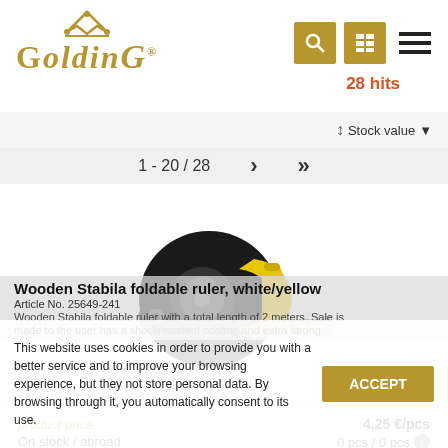[Figure (logo): Goldino brand logo with crown, golden/brown color]
[Figure (screenshot): Search icon, grid/list icon, and hamburger menu icon in header navigation; 28 hits in red text]
1 - 20 / 28
Stock value
[Figure (photo): Black and yellow tape measure / measuring tape product photo on white background]
product price
On stock / abroad
4,25 €/pcs
0 pcs / 0 pcs
Wooden Stabila foldable ruler, white/yellow
Article No. 25649-241
Wooden Stabila foldable ruler with a total length of 2 meters. Sale is
This website uses cookies in order to provide you with a better service and to improve your browsing experience, but they not store personal data. By browsing through it, you automatically consent to its use.
ACCEPT